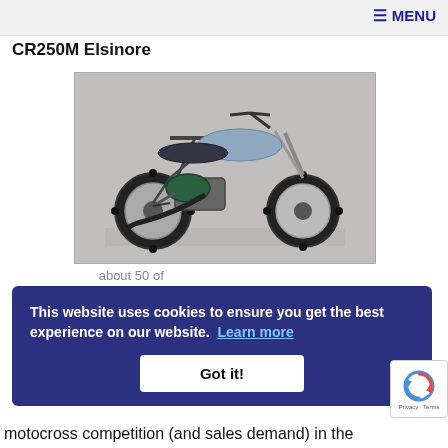≡ MENU
CR250M Elsinore
[Figure (photo): Side profile photograph of a Honda CR250M Elsinore motocross/dirt motorcycle, silver/blue tank, black seat, large knobby tires, against a light gray background.]
...about 50 of
This website uses cookies to ensure you get the best experience on our website. Learn more
Got it!
motocross competition (and sales demand) in the